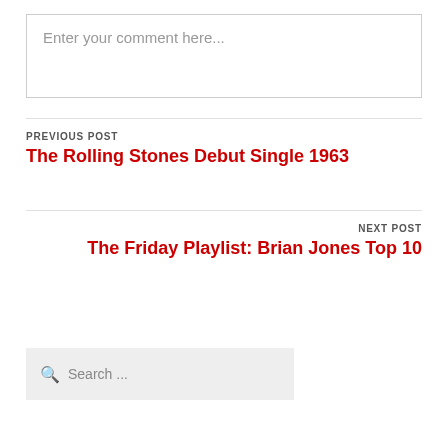Enter your comment here...
PREVIOUS POST
The Rolling Stones Debut Single 1963
NEXT POST
The Friday Playlist: Brian Jones Top 10
Search ...